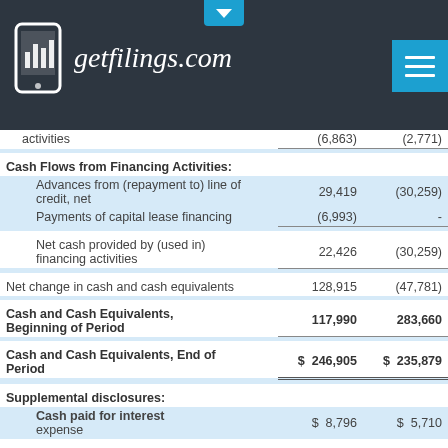getfilings.com
|  |  |  |
| --- | --- | --- |
| activities | (6,863) | (2,771) |
| Cash Flows from Financing Activities: |  |  |
| Advances from (repayment to) line of credit, net | 29,419 | (30,259) |
| Payments of capital lease financing | (6,993) | - |
| Net cash provided by (used in) financing activities | 22,426 | (30,259) |
| Net change in cash and cash equivalents | 128,915 | (47,781) |
| Cash and Cash Equivalents, Beginning of Period | 117,990 | 283,660 |
| Cash and Cash Equivalents, End of Period | $ 246,905 | $ 235,879 |
| Supplemental disclosures: |  |  |
| Cash paid for interest expense | $ 8,796 | $ 5,710 |